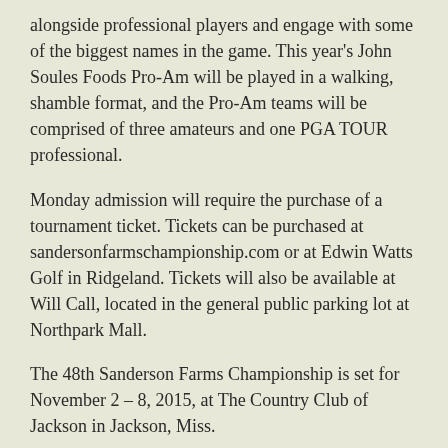alongside professional players and engage with some of the biggest names in the game. This year's John Soules Foods Pro-Am will be played in a walking, shamble format, and the Pro-Am teams will be comprised of three amateurs and one PGA TOUR professional.
Monday admission will require the purchase of a tournament ticket. Tickets can be purchased at sandersonfarmschampionship.com or at Edwin Watts Golf in Ridgeland. Tickets will also be available at Will Call, located in the general public parking lot at Northpark Mall.
The 48th Sanderson Farms Championship is set for November 2 – 8, 2015, at The Country Club of Jackson in Jackson, Miss.
About The Sanderson Farms Championship:
The Sanderson Farms Championship is an annual stop...